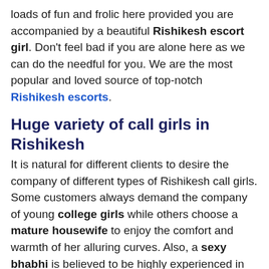loads of fun and frolic here provided you are accompanied by a beautiful Rishikesh escort girl. Don't feel bad if you are alone here as we can do the needful for you. We are the most popular and loved source of top-notch Rishikesh escorts.
Huge variety of call girls in Rishikesh
It is natural for different clients to desire the company of different types of Rishikesh call girls. Some customers always demand the company of young college girls while others choose a mature housewife to enjoy the comfort and warmth of her alluring curves. Also, a sexy bhabhi is believed to be highly experienced in the art of lovemaking to introduce new and unknown bodily pleasures to her customers. No matter what your choice in